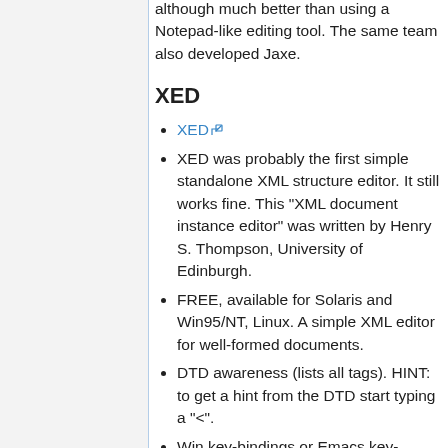although much better than using a Notepad-like editing tool. The same team also developed Jaxe.
XED
XED
XED was probably the first simple standalone XML structure editor. It still works fine. This "XML document instance editor" was written by Henry S. Thompson, University of Edinburgh.
FREE, available for Solaris and Win95/NT, Linux. A simple XML editor for well-formed documents.
DTD awareness (lists all tags). HINT: to get a hint from the DTD start typing a "<".
Win key-bindings or Emacs key-bindings (good for people who don't